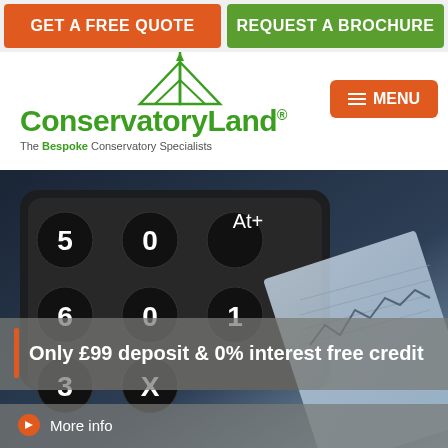GET A FREE QUOTE
REQUEST A BROCHURE
[Figure (logo): ConservatoryLand logo with green tent/conservatory icon and green text. Tagline: The Bespoke Conservatory Specialists]
[Figure (photo): Close-up photo of a calculator with dark keys showing numbers 5, 6, X, 3 and financial documents/charts in the background]
Only £99 deposit & 0% interest free credit
More info